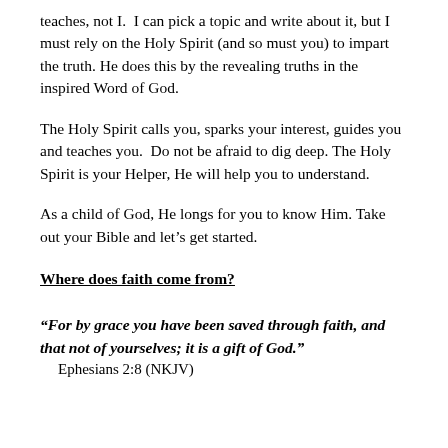teaches, not I.  I can pick a topic and write about it, but I must rely on the Holy Spirit (and so must you) to impart the truth. He does this by the revealing truths in the inspired Word of God.
The Holy Spirit calls you, sparks your interest, guides you and teaches you.  Do not be afraid to dig deep. The Holy Spirit is your Helper, He will help you to understand.
As a child of God, He longs for you to know Him. Take out your Bible and let's get started.
Where does faith come from?
“For by grace you have been saved through faith, and that not of yourselves; it is a gift of God.”
Ephesians 2:8 (NKJV)